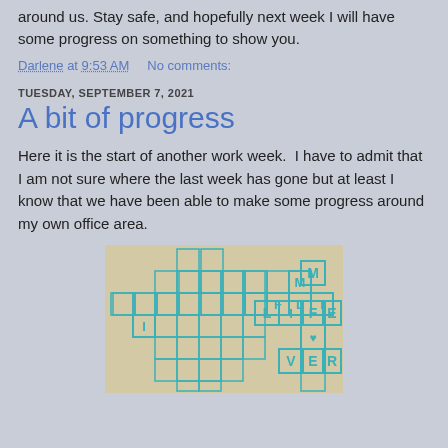around us. Stay safe, and hopefully next week I will have some progress on something to show you.
Darlene at 9:53 AM    No comments:
TUESDAY, SEPTEMBER 7, 2021
A bit of progress
Here it is the start of another work week.  I have to admit that I am not sure where the last week has gone but at least I know that we have been able to make some progress around my own office area.
[Figure (photo): A crossword puzzle grid drawn in teal/turquoise lines on paper, with letters M, L, I, F, E, I, O (with heart), V, E, R visible in some squares, spelling MOVER and LIFE in a crossword pattern.]